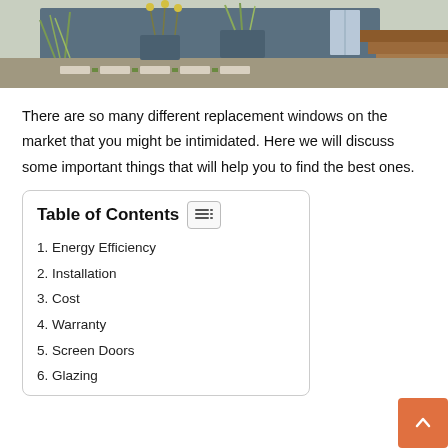[Figure (photo): Outdoor modern landscape with gravel pathway, stepping stones with grass between them, ornamental grasses and yellow flowers in planters against a blue-grey wall, wood decking steps on the right side]
There are so many different replacement windows on the market that you might be intimidated. Here we will discuss some important things that will help you to find the best ones.
Table of Contents
1. Energy Efficiency
2. Installation
3. Cost
4. Warranty
5. Screen Doors
6. Glazing